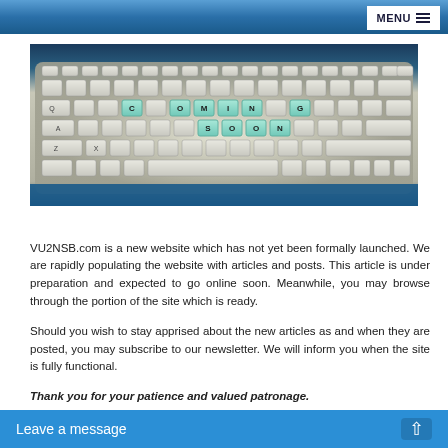MENU
[Figure (illustration): A keyboard with certain keys highlighted in teal/green spelling out 'COMING SOON']
VU2NSB.com is a new website which has not yet been formally launched. We are rapidly populating the website with articles and posts. This article is under preparation and expected to go online soon. Meanwhile, you may browse through the portion of the site which is ready.
Should you wish to stay apprised about the new articles as and when they are posted, you may subscribe to our newsletter. We will inform you when the site is fully functional.
Thank you for your patience and valued patronage.
Best regard
Leave a message